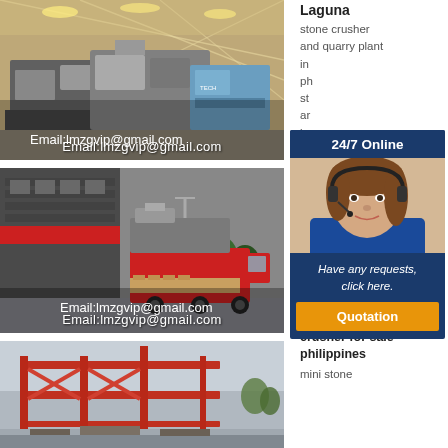[Figure (photo): Industrial stone crusher machinery inside a factory with yellow lighting]
Email:lmzgvip@gmail.com
[Figure (photo): Stone crusher machine on a transport truck outside a factory building]
Email:lmzgvip@gmail.com
[Figure (photo): Construction site with red steel frame structure and scaffolding]
Laguna
stone crusher and quarry plant in philippines stone and quarry in
ice crusher sale philippines
Ice crusher Machine Line Sale
Ice crusher machine Line Crusher For Sale
mini stone crusher for sale philippines
mini stone
[Figure (other): 24/7 Online chat widget with customer service representative photo and Quotation button]